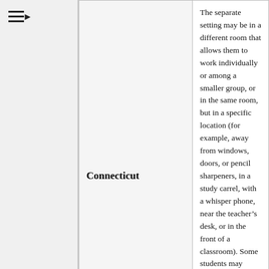| State | Description |
| --- | --- |
| Connecticut | The separate setting may be in a different room that allows them to work individually or among a smaller group, or in the same room, but in a specific location (for example, away from windows, doors, or pencil sharpeners, in a study carrel, with a whisper phone, near the teacher’s desk, or in the front of a classroom). Some students may benefit from being in an environment that allows for movement, such as being able to walk around. |
|  | Universal Feature – |